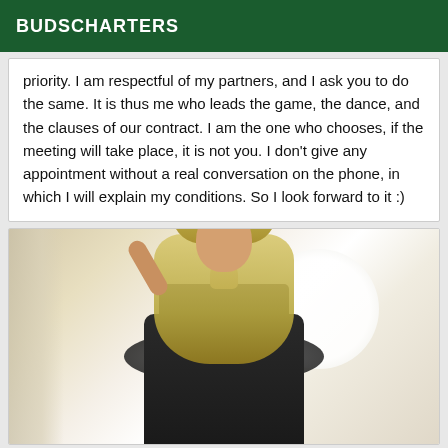BUDSCHARTERS
priority. I am respectful of my partners, and I ask you to do the same. It is thus me who leads the game, the dance, and the clauses of our contract. I am the one who chooses, if the meeting will take place, it is not you. I don't give any appointment without a real conversation on the phone, in which I will explain my conditions. So I look forward to it :)
[Figure (photo): A person with long blonde hair wearing a dark lace dress with fur/feather detail, posed in front of a bright circular window]